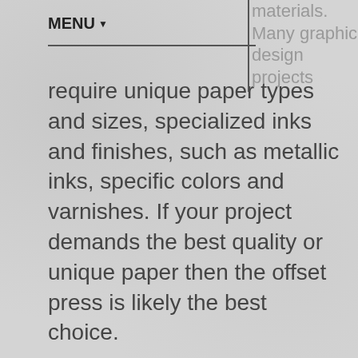MENU ▼
materials. Many graphic design projects require unique paper types and sizes, specialized inks and finishes, such as metallic inks, specific colors and varnishes. If your project demands the best quality or unique paper then the offset press is likely the best choice.
With the combination of the Pantone Matching System and Pantone inks makes traditional offset presses the best choice when complete control is needed and color accuracy is required. The four color process used for digital printing simply